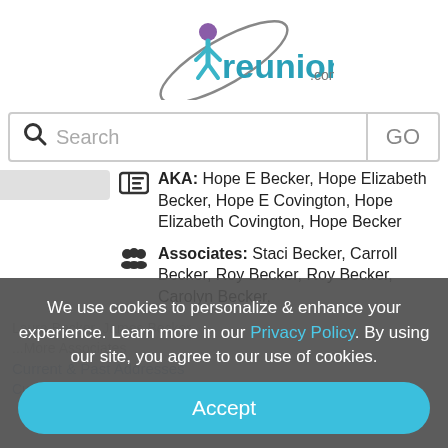[Figure (logo): reunion.com logo with teal text and purple/teal figure icon]
[Figure (screenshot): Search bar with magnifying glass icon, placeholder text 'Search', and 'GO' button]
AKA: Hope E Becker, Hope Elizabeth Becker, Hope E Covington, Hope Elizabeth Covington, Hope Becker
Associates: Staci Becker, Carroll Becker, Roy Becker, Roy Becker, Carolyn Becker,
Laura Becker, James Becker,
...More Associates
Current & Past Addresses
Current: 7948 190th Ave Blairstown, IA 52209
We use cookies to personalize & enhance your experience. Learn more in our Privacy Policy. By using our site, you agree to our use of cookies.
Accept